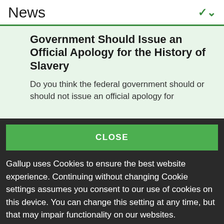News
Government Should Issue an Official Apology for the History of Slavery
Do you think the federal government should or should not issue an official apology for
CLOSE
Gallup uses Cookies to ensure the best website experience. Continuing without changing Cookie settings assumes you consent to our use of cookies on this device. You can change this setting at any time, but that may impair functionality on our websites.
Privacy Statement   Site Terms of Use and Sale
Product Terms of Use   Adjust your cookie settings.